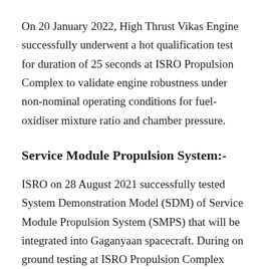On 20 January 2022, High Thrust Vikas Engine successfully underwent a hot qualification test for duration of 25 seconds at ISRO Propulsion Complex to validate engine robustness under non-nominal operating conditions for fuel-oxidiser mixture ratio and chamber pressure.
Service Module Propulsion System:-
ISRO on 28 August 2021 successfully tested System Demonstration Model (SDM) of Service Module Propulsion System (SMPS) that will be integrated into Gaganyaan spacecraft. During on ground testing at ISRO Propulsion Complex (IPRC), SDM was fired for a duration of 450 seconds which matched the pre-